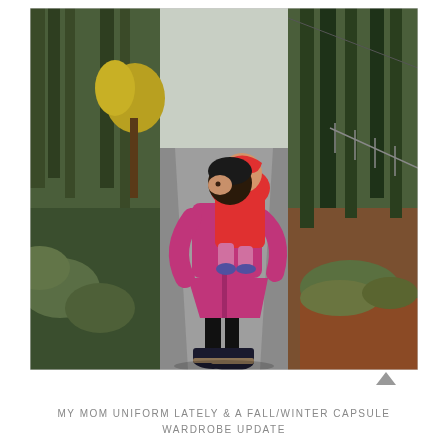[Figure (photo): A woman in a bright magenta/pink coat carrying a young child in a red jacket on her back, standing on a gray paved rural road, looking back over her shoulder toward the camera. The road is lined with green trees and shrubs with some autumn color. The scene is overcast and wintry.]
MY MOM UNIFORM LATELY & A FALL/WINTER CAPSULE WARDROBE UPDATE